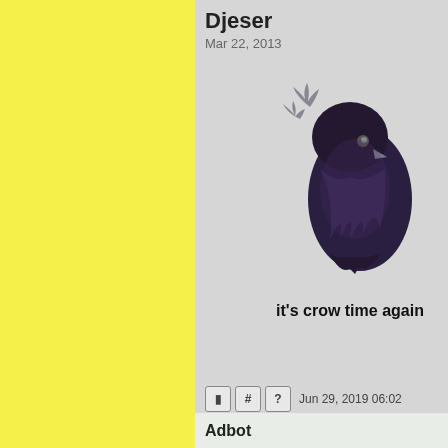[Figure (illustration): Yellow sidebar background on the left portion of the page]
Djeser
Mar 22, 2013
[Figure (illustration): Pixel art illustration of a dark purple/black crow or bird, facing left, with antler-like branches extending from its head]
it's crow time again
Jun 29, 2019 06:02
Write em up, folks! Sign ups closed.
Profile
Post H
Rap Sh
QUOTE
Adbot